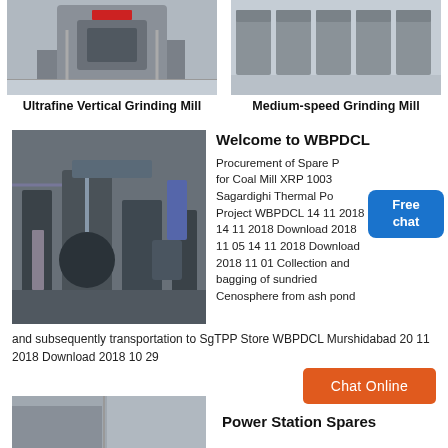[Figure (photo): Photo of Ultrafine Vertical Grinding Mill industrial equipment in a factory]
Ultrafine Vertical Grinding Mill
[Figure (photo): Photo of Medium-speed Grinding Mill industrial machines lined up in a warehouse]
Medium-speed Grinding Mill
[Figure (photo): Photo of industrial plant interior with large machinery, pipes, and conveyors]
Welcome to WBPDCL
Procurement of Spare Parts for Coal Mill XRP 1003 Sagardighi Thermal Power Project WBPDCL 14 11 2018 14 11 2018 Download 2018 11 05 14 11 2018 Download 2018 11 01 Collection and bagging of sundried Cenosphere from ash pond and subsequently transportation to SgTPP Store WBPDCL Murshidabad 20 11 2018 Download 2018 10 29
[Figure (other): Free chat button/badge overlay]
Chat Online
[Figure (photo): Bottom partial photo of industrial equipment]
Power Station Spares